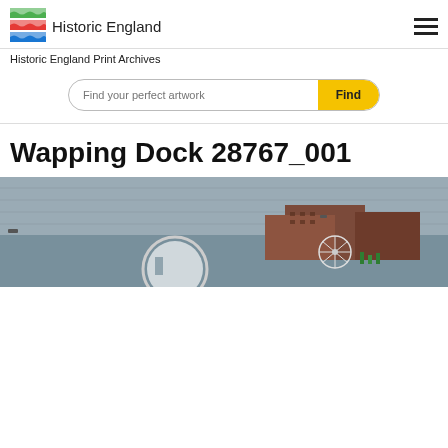Historic England
Historic England Print Archives
Find your perfect artwork — Find
Wapping Dock 28767_001
[Figure (photo): Aerial photograph of Wapping Dock showing waterfront buildings, a large circular structure, a Ferris wheel, and open water with boats.]